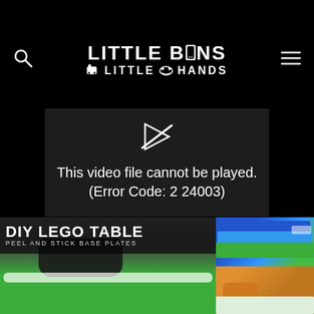[Figure (logo): Little Bins Little Hands website logo in white text on black background, with search icon left and hamburger menu icon right]
[Figure (screenshot): Video player error overlay showing a crossed-out play icon and text: This video file cannot be played. (Error Code: 2 24003)]
[Figure (photo): DIY LEGO TABLE with PEEL AND STICK BASE PLATES text overlay on a photo of a green lego base plate on a tray table, with side images showing blue/green/red lego plates and a person in orange shirt applying plates]